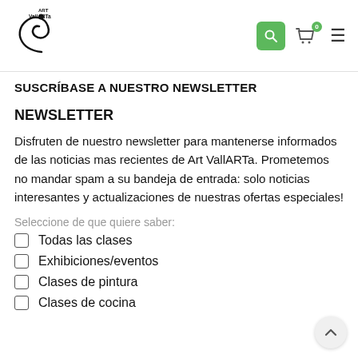[Figure (logo): Art VallARTa logo — stylized swirl with text 'ART VallARTa']
[Figure (screenshot): Header navigation icons: green search button, cart icon with badge '0', hamburger menu]
SUSCRÍBASE A NUESTRO NEWSLETTER
NEWSLETTER
Disfruten de nuestro newsletter para mantenerse informados de las noticias mas recientes de Art VallARTa. Prometemos no mandar spam a su bandeja de entrada: solo noticias interesantes y actualizaciones de nuestras ofertas especiales!
Seleccione de que quiere saber:
Todas las clases
Exhibiciones/eventos
Clases de pintura
Clases de cocina